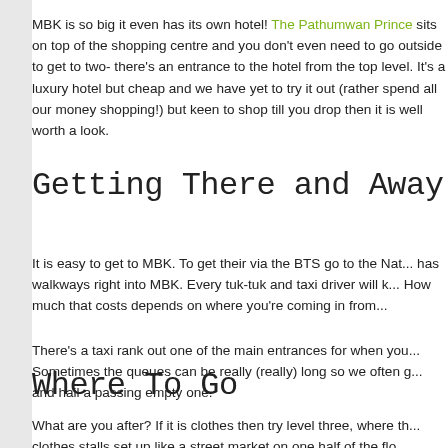MBK is so big it even has its own hotel! The Pathumwan Prince sits on top of the shopping centre and you don't even need to go outside to get to two- there's an entrance to the hotel from the top level. It's a luxury hotel but cheap and we have yet to try it out (rather spend all our money shopping!) but keen to shop till you drop then it is well worth a look.
Getting There and Away
It is easy to get to MBK. To get their via the BTS go to the Nat... has walkways right into MBK. Every tuk-tuk and taxi driver will k... How much that costs depends on where you're coming in from...
There's a taxi rank out one of the main entrances for when you... Sometimes the queues can be really (really) long so we often g... and hail a passing empty one.
Where To Go
What are you after? If it is clothes then try level three, where th... clothes stalls set up like a street market on one half of the flo...